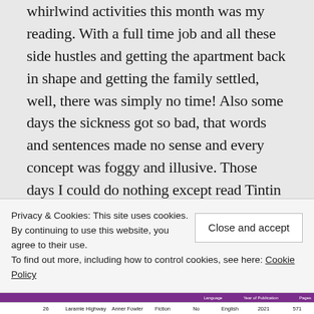whirlwind activities this month was my reading. With a full time job and all these side hustles and getting the apartment back in shape and getting the family settled, well, there was simply no time! Also some days the sickness got so bad, that words and sentences made no sense and every concept was foggy and illusive. Those days I could do nothing except read Tintin and Asterix comic books and I thank the powers that be for this simple and undiluted pleasure which saw me through those painful hours! In the end, a very dismal month from a reading perspective, though qualitatively
Privacy & Cookies: This site uses cookies. By continuing to use this website, you agree to their use.
To find out more, including how to control cookies, see here: Cookie Policy
Close and accept
|  |  | Language | Year of Publication | Pages |
| --- | --- | --- | --- | --- |
| 26 | Laramie Highway | Anner Fowler | Fiction | No | English | 2021 | 571 |